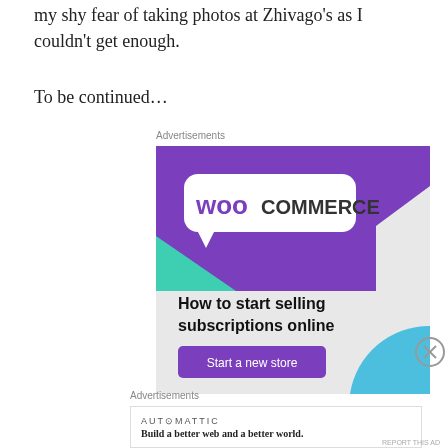my shy fear of taking photos at Zhivago's as I couldn't get enough.
To be continued…
Advertisements
[Figure (screenshot): WooCommerce advertisement banner showing logo, decorative shapes (purple rectangle, teal triangle, blue quarter-circle), bold text 'How to start selling subscriptions online', and a purple 'Start a new store' button.]
Advertisements
[Figure (screenshot): Automattic advertisement with logo 'AUT⊙MATTIC' and tagline 'Build a better web and a better world.']